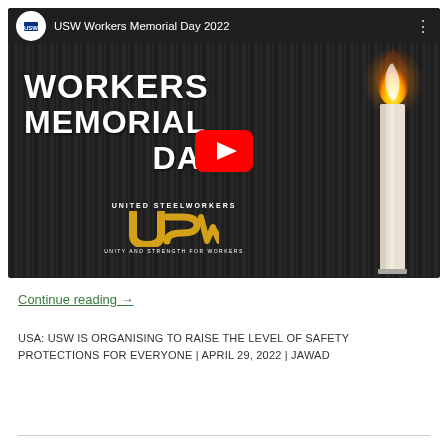[Figure (screenshot): YouTube video thumbnail for 'USW Workers Memorial Day 2022' showing bold white text 'WORKERS MEMORIAL DAY' on dark vertical striped background with a lit candle on the right, USW (United Steelworkers) logo in gold at bottom center, red YouTube play button in center, and USW logo in top-left circle.]
Continue reading →
USA: USW IS ORGANISING TO RAISE THE LEVEL OF SAFETY PROTECTIONS FOR EVERYONE | APRIL 29, 2022 | JAWAD